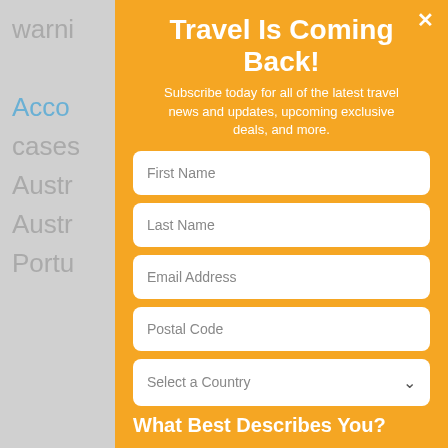warni...
Acco... pox cases... a, Austr... gium, Austr... Portu...
Travel Is Coming Back!
Subscribe today for all of the latest travel news and updates, upcoming exclusive deals, and more.
First Name
Last Name
Email Address
Postal Code
Select a Country
What Best Describes You?
Travel Agent
Travel Supplier
Traveler